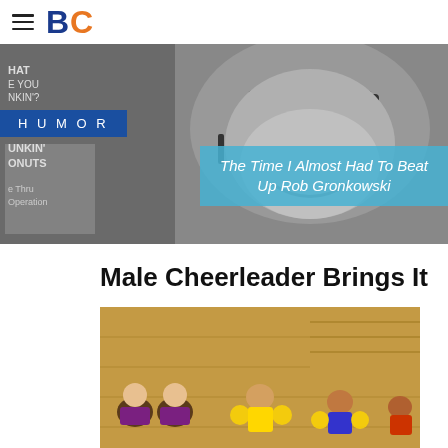BC
[Figure (photo): Black and white photo of a young man smiling, wearing a headset, near a Dunkin' Donuts drive-thru sign. Text overlay: 'HUMOR' badge and caption 'The Time I Almost Had To Beat Up Rob Gronkowski']
The Time I Almost Had To Beat Up Rob Gronkowski
Male Cheerleader Brings It
[Figure (photo): Color photo of cheerleaders performing on a gym floor near bleachers, including a male cheerleader]